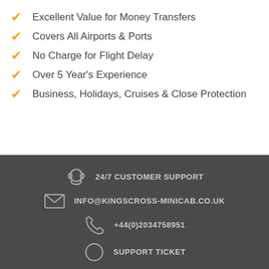Excellent Value for Money Transfers
Covers All Airports & Ports
No Charge for Flight Delay
Over 5 Year's Experience
Business, Holidays, Cruises & Close Protection
24/7 CUSTOMER SUPPORT
INFO@KINGSCROSS-MINICAB.CO.UK
+44(0)2034758951
SUPPORT TICKET